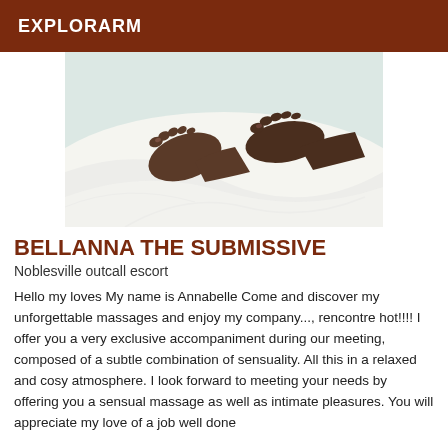EXPLORARM
[Figure (photo): Close-up photo of feet resting on white bedsheets]
BELLANNA THE SUBMISSIVE
Noblesville outcall escort
Hello my loves My name is Annabelle Come and discover my unforgettable massages and enjoy my company..., rencontre hot!!!! I offer you a very exclusive accompaniment during our meeting, composed of a subtle combination of sensuality. All this in a relaxed and cosy atmosphere. I look forward to meeting your needs by offering you a sensual massage as well as intimate pleasures. You will appreciate my love of a job well done